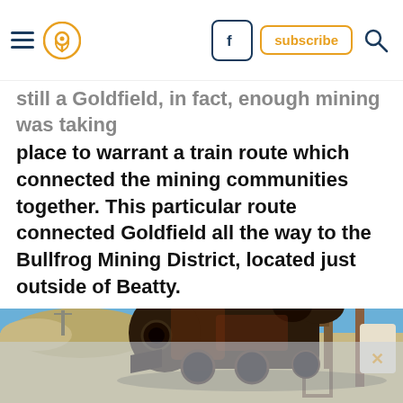Navigation bar with hamburger menu, location pin icon, Facebook button, subscribe button, and search icon
...still a Goldfield, in fact, enough mining was taking place to warrant a train route which connected the mining communities together. This particular route connected Goldfield all the way to the Bullfrog Mining District, located just outside of Beatty.
[Figure (photo): Photograph of a rusted, abandoned steam locomotive engine in a desert setting with blue sky, sandy terrain, and wooden mining structures in the background. A second faded image of mining equipment appears at the bottom of the page.]